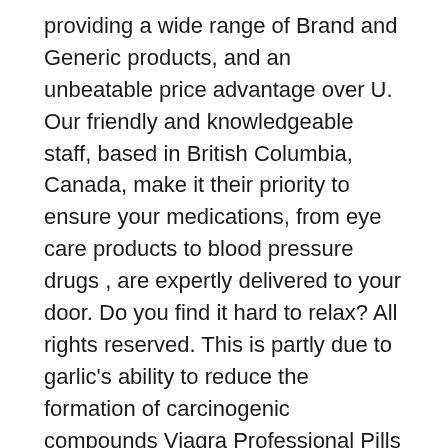providing a wide range of Brand and Generic products, and an unbeatable price advantage over U. Our friendly and knowledgeable staff, based in British Columbia, Canada, make it their priority to ensure your medications, from eye care products to blood pressure drugs , are expertly delivered to your door. Do you find it hard to relax? All rights reserved. This is partly due to garlic's ability to reduce the formation of carcinogenic compounds Viagra Professional Pills X Mg: Por favor, le informamos que: We operate out of the Province of British Columbia, Canada but our medications are dispensed from fulfillment centers around the world including but not limited to Canada, Singapore, New Zealand, Turkey, Mauritius, India, and United Kingdom. See what they have to say - trust the people who have already discovered why Canada Pharmacy, the largest online Canadian pharmacy is indeed the healthy choice for prescription and over-the-counter medications. It also slows the pulse and modifies the heart rhythm, besides